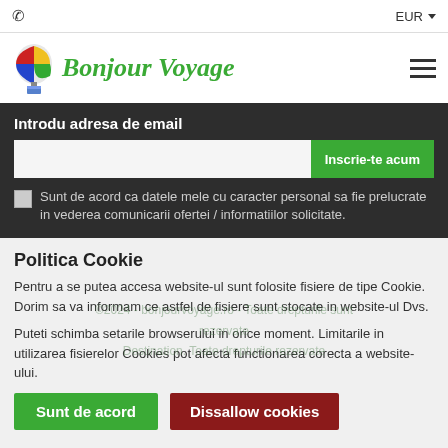📞  EUR ▾
[Figure (logo): Bonjour Voyage hot air balloon logo with colorful balloon and green cursive text]
Introdu adresa de email
Sunt de acord ca datele mele cu caracter personal sa fie prelucrate in vederea comunicarii ofertei / informatiilor solicitate.
Politica Cookie
Pentru a se putea accesa website-ul sunt folosite fisiere de tipe Cookie. Dorim sa va informam ce astfel de fisiere sunt stocate in website-ul Dvs.
Puteti schimba setarile browserului in orice moment. Limitarile in utilizarea fisierelor Cookies pot afecta functionarea corecta a website-ului.